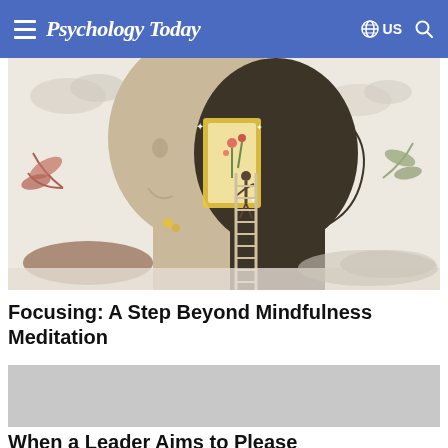Psychology Today | US
[Figure (illustration): Stylized illustration of two overlapping human head silhouettes with botanical elements. A figure on a ladder climbs through a glowing doorway in the larger light-colored head, with decorative leaves and clouds in the background.]
Focusing: A Step Beyond Mindfulness Meditation
[Figure (photo): Gray placeholder image for the second article]
When a Leader Aims to Please